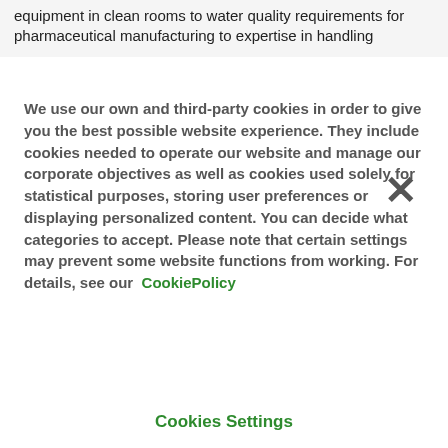equipment in clean rooms to water quality requirements for pharmaceutical manufacturing to expertise in handling
We use our own and third-party cookies in order to give you the best possible website experience. They include cookies needed to operate our website and manage our corporate objectives as well as cookies used solely for statistical purposes, storing user preferences or displaying personalized content. You can decide what categories to accept. Please note that certain settings may prevent some website functions from working. For details, see our CookiePolicy
Cookies Settings